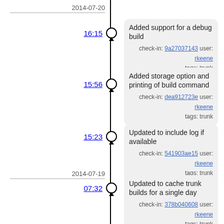2014-07-20
16:15
Added support for a debug build
check-in: 9a27037143 user: rkeene tags: trunk
15:56
Added storage option and printing of build command
check-in: dea912723e user: rkeene tags: trunk
15:23
Updated to include log if available
check-in: 541903ae15 user: rkeene tags: trunk
2014-07-19
07:32
Updated to cache trunk builds for a single day
check-in: 378b040608 user: rkeene tags: trunk
07:23
Updated to show page when completed
check-in: 06b37e2ab1 user: rkeene tags: trunk